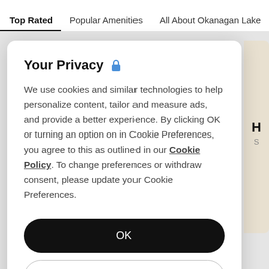Top Rated  Popular Amenities  All About Okanagan Lake
Your Privacy 🔒
We use cookies and similar technologies to help personalize content, tailor and measure ads, and provide a better experience. By clicking OK or turning an option on in Cookie Preferences, you agree to this as outlined in our Cookie Policy. To change preferences or withdraw consent, please update your Cookie Preferences.
OK
Cookie Preferences